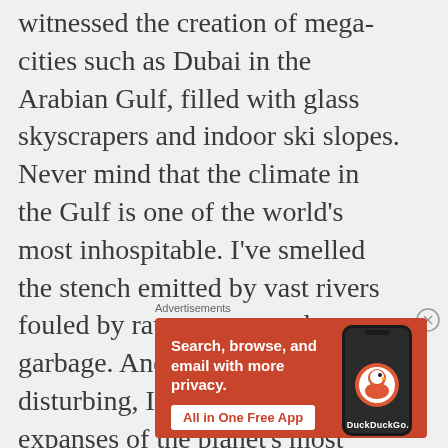witnessed the creation of mega-cities such as Dubai in the Arabian Gulf, filled with glass skyscrapers and indoor ski slopes. Never mind that the climate in the Gulf is one of the world’s most inhospitable. I’ve smelled the stench emitted by vast rivers fouled by raw sewage and garbage. And perhaps most disturbing, I’ve seen vast expanses of the planet’s most biologically diverse rain forest in SE Asia and South
Advertisements
[Figure (other): DuckDuckGo advertisement banner on orange/red background showing 'Search, browse, and email with more privacy. All in One Free App' with a phone graphic and DuckDuckGo logo.]